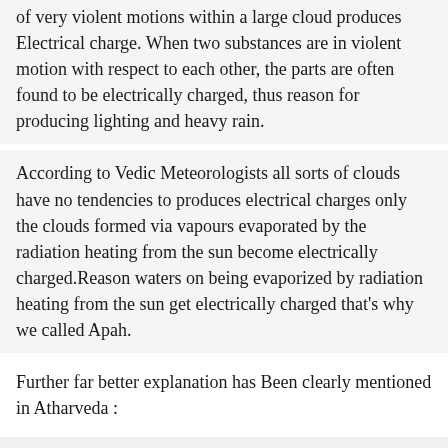of very violent motions within a large cloud produces Electrical charge. When two substances are in violent motion with respect to each other, the parts are often found to be electrically charged, thus reason for producing lighting and heavy rain.
According to Vedic Meteorologists all sorts of clouds have no tendencies to produces electrical charges only the clouds formed via vapours evaporated by the radiation heating from the sun become electrically charged.Reason waters on being evaporized by radiation heating from the sun get electrically charged that’s why we called Apah.
Further far better explanation has Been clearly mentioned in Atharveda :
“ Because you are sent forth (Evaporized) by the Varuna (Radiation heating from the sun) and you have condensed so well. Indra ( Electrical Charge) possess you, you are, there fore called Apah ( Charged clouds) ”.
When these Apah set to move violently are called Pravatas (floating clouds). Since the electrical charge is produced in the floating clouds ( Pravatas), vedic seers named as “Pravatonapat”.